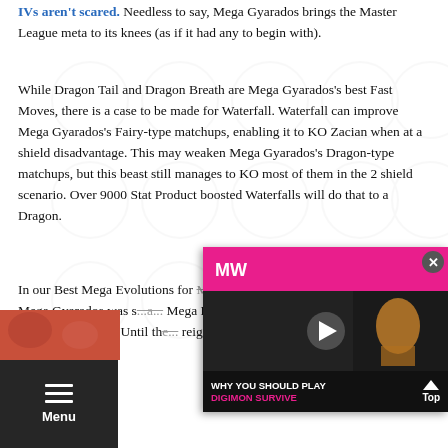IVs aren't scared. Needless to say, Mega Gyarados brings the Master League meta to its knees (as if it had any to begin with).
While Dragon Tail and Dragon Breath are Mega Gyarados's best Fast Moves, there is a case to be made for Waterfall. Waterfall can improve Mega Gyarados's Fairy-type matchups, enabling it to KO Zacian when at a shield disadvantage. This may weaken Mega Gyarados's Dragon-type matchups, but this beast still manages to KO most of them in the 2 shield scenario. Over 9000 Stat Product boosted Waterfalls will do that to a Dragon.
In our Best Mega Evolutions for Master League article from 2 years ago, Mega Gyarados was s... Mega Lucario and Mega Gardev... Mega Gyarados's power. Until th... reign over the Master League m...
[Figure (screenshot): Video overlay widget showing 'WHY YOU SHOULD PLAY DIGIMON SURVIVE' with the MW logo on a pink/magenta bar, a video thumbnail with a play button, and a Top button.]
[Figure (screenshot): Small image strip at bottom left showing a partially visible orange/red toned image.]